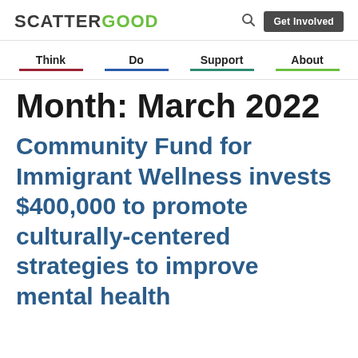SCATTERGOOD | Get Involved
Think | Do | Support | About
Month: March 2022
Community Fund for Immigrant Wellness invests $400,000 to promote culturally-centered strategies to improve mental health